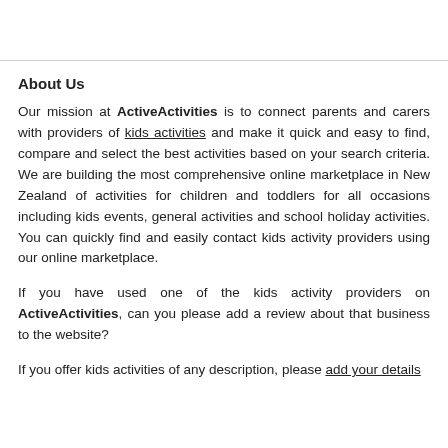About Us
Our mission at ActiveActivities is to connect parents and carers with providers of kids activities and make it quick and easy to find, compare and select the best activities based on your search criteria. We are building the most comprehensive online marketplace in New Zealand of activities for children and toddlers for all occasions including kids events, general activities and school holiday activities. You can quickly find and easily contact kids activity providers using our online marketplace.
If you have used one of the kids activity providers on ActiveActivities, can you please add a review about that business to the website?
If you offer kids activities of any description, please add your details